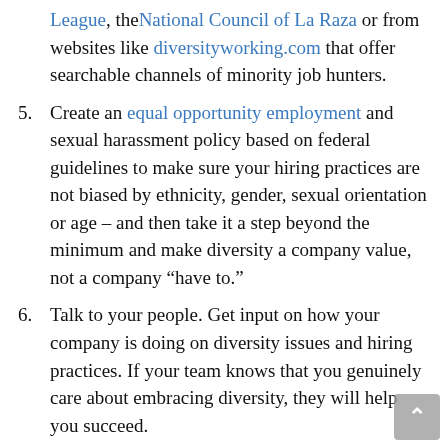League, the National Council of La Raza or from websites like diversityworking.com that offer searchable channels of minority job hunters.
5. Create an equal opportunity employment and sexual harassment policy based on federal guidelines to make sure your hiring practices are not biased by ethnicity, gender, sexual orientation or age – and then take it a step beyond the minimum and make diversity a company value, not a company “have to.”
6. Talk to your people. Get input on how your company is doing on diversity issues and hiring practices. If your team knows that you genuinely care about embracing diversity, they will help you succeed.